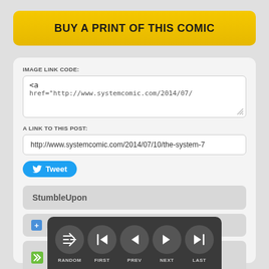BUY A PRINT OF THIS COMIC
IMAGE LINK CODE:
<a
href="http://www.systemcomic.com/2014/07/
A LINK TO THIS POST:
http://www.systemcomic.com/2014/07/10/the-system-7
Tweet
StumbleUpon
+ reddit this!
M...
[Figure (screenshot): Navigation bar overlay with dark background showing RANDOM, FIRST, PREV, NEXT, LAST buttons with arrow icons]